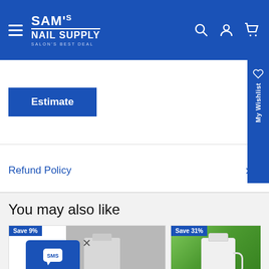[Figure (screenshot): SAM's Nail Supply website header with logo, hamburger menu, and icons for search, account, cart on blue background]
Estimate
Refund Policy
You may also like
[Figure (photo): Product card showing Save 9% badge and an image of a white bottle product with SMS chat popup overlay]
[Figure (photo): Product card showing Save 31% badge and a white bottle against green leafy background]